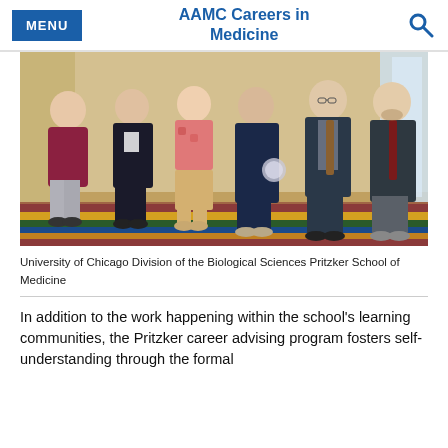MENU | AAMC Careers in Medicine
[Figure (photo): Group photo of six people standing together in a hotel or conference center lobby, with a colorful patterned carpet. One person is holding a glass award. Three women on the left and two men on the right, with a woman in the center.]
University of Chicago Division of the Biological Sciences Pritzker School of Medicine
In addition to the work happening within the school's learning communities, the Pritzker career advising program fosters self-understanding through the formal